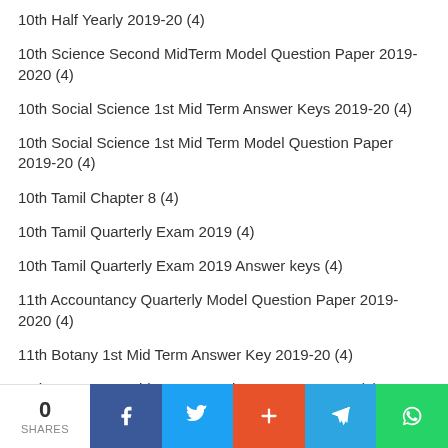10th Half Yearly 2019-20 (4)
10th Science Second MidTerm Model Question Paper 2019-2020 (4)
10th Social Science 1st Mid Term Answer Keys 2019-20 (4)
10th Social Science 1st Mid Term Model Question Paper 2019-20 (4)
10th Tamil Chapter 8 (4)
10th Tamil Quarterly Exam 2019 (4)
10th Tamil Quarterly Exam 2019 Answer keys (4)
11th Accountancy Quarterly Model Question Paper 2019-2020 (4)
11th Botany 1st Mid Term Answer Key 2019-20 (4)
11th Botany 1st Mid Term Question Paper 2019-20 (4)